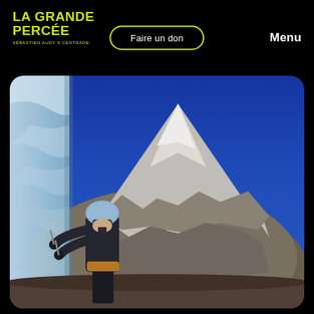LA GRANDE PERCÉE
SÉBASTIEN AUDY X CENTRADE
Faire un don
Menu
[Figure (photo): A mountain climber in a blue helmet and dark jacket using ice axes on a frozen ice wall. In the background, a massive snow-covered mountain peak under a deep blue sky.]